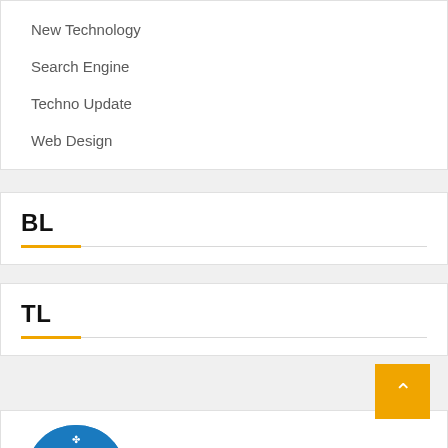New Technology
Search Engine
Techno Update
Web Design
BL
TL
[Figure (logo): Intellifluence Trusted Blogger badge - a blue semicircular badge with gold bottom ribbon, showing 'Intellifluence Trusted Blogger' text]